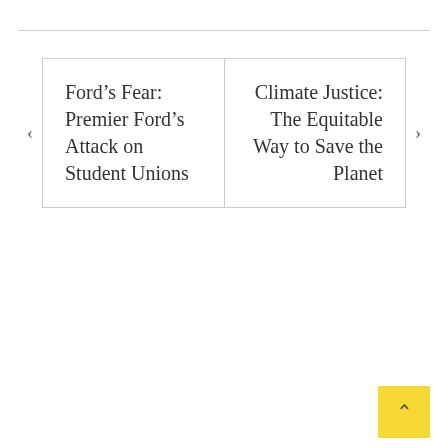Ford’s Fear: Premier Ford’s Attack on Student Unions
Climate Justice: The Equitable Way to Save the Planet